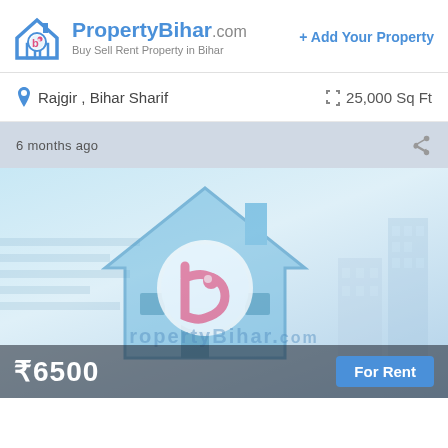[Figure (logo): PropertyBihar.com logo with house icon]
PropertyBihar.com — Buy Sell Rent Property in Bihar
+ Add Your Property
Rajgir , Bihar Sharif
25,000 Sq Ft
6 months ago
[Figure (illustration): PropertyBihar.com property listing placeholder image with house logo watermark]
₹6500
For Rent